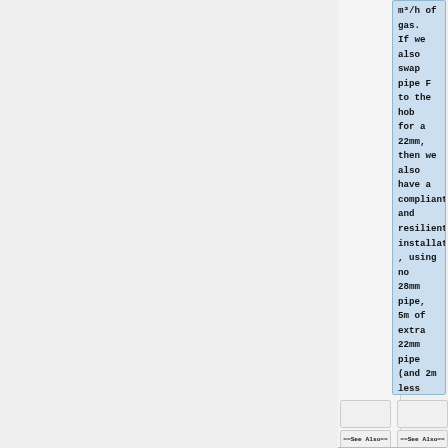m³/h of gas. If we also swap pipe F to the hob for a 22mm, then we also have a compliant and resilient installation, using no 28mm pipe, 5m of extra 22mm pipe (and 2m less of 15mm).
==See Also==
==See Also==